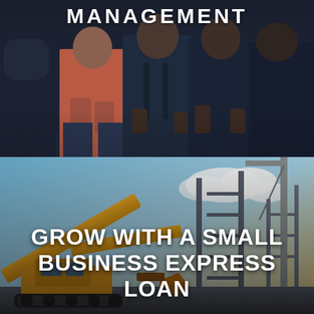[Figure (photo): A group of business professionals standing together against a dark background, upper bodies and waist visible, with one person in a coral/red top and others in dark suits.]
MANAGEMENT
[Figure (photo): A construction site with a yellow excavator/crane in the foreground and a building structure under construction in the background with blue sky and clouds.]
GROW WITH A SMALL BUSINESS EXPRESS LOAN